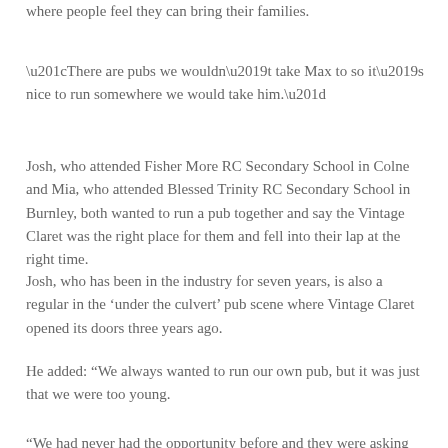where people feel they can bring their families.
“There are pubs we wouldn’t take Max to so it’s nice to run somewhere we would take him.”
Josh, who attended Fisher More RC Secondary School in Colne and Mia, who attended Blessed Trinity RC Secondary School in Burnley, both wanted to run a pub together and say the Vintage Claret was the right place for them and fell into their lap at the right time.
Josh, who has been in the industry for seven years, is also a regular in the ‘under the culvert’ pub scene where Vintage Claret opened its doors three years ago.
He added: “We always wanted to run our own pub, but it was just that we were too young.
“We had never had the opportunity before and they were asking people to run the place day to day to take over the bar and that’s